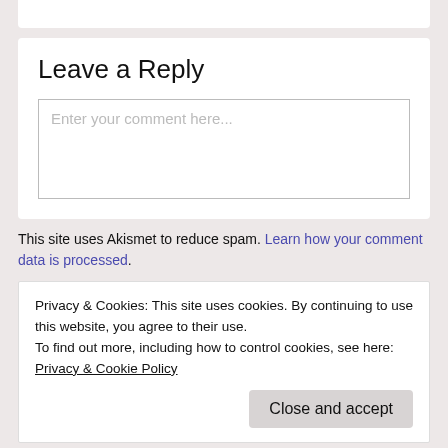Leave a Reply
Enter your comment here...
This site uses Akismet to reduce spam. Learn how your comment data is processed.
Privacy & Cookies: This site uses cookies. By continuing to use this website, you agree to their use.
To find out more, including how to control cookies, see here: Privacy & Cookie Policy
Close and accept
Subscribe to Blog via Email